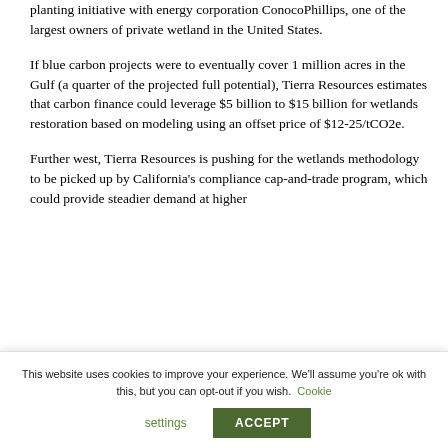planting initiative with energy corporation ConocoPhillips, one of the largest owners of private wetland in the United States.
If blue carbon projects were to eventually cover 1 million acres in the Gulf (a quarter of the projected full potential), Tierra Resources estimates that carbon finance could leverage $5 billion to $15 billion for wetlands restoration based on modeling using an offset price of $12-25/tCO2e.
Further west, Tierra Resources is pushing for the wetlands methodology to be picked up by California's compliance cap-and-trade program, which could provide steadier demand at higher…
This website uses cookies to improve your experience. We'll assume you're ok with this, but you can opt-out if you wish. Cookie settings ACCEPT